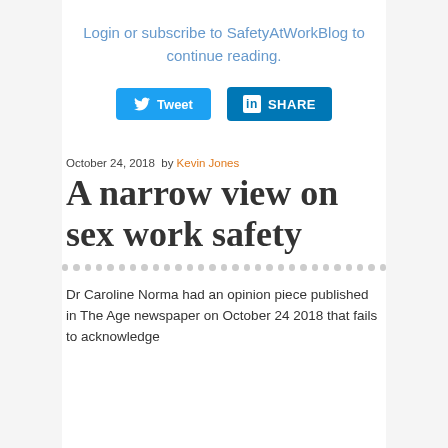Login or subscribe to SafetyAtWorkBlog to continue reading.
[Figure (other): Tweet button and LinkedIn Share button]
October 24, 2018  by Kevin Jones
A narrow view on sex work safety
Dr Caroline Norma had an opinion piece published in The Age newspaper on October 24 2018 that fails to acknowledge